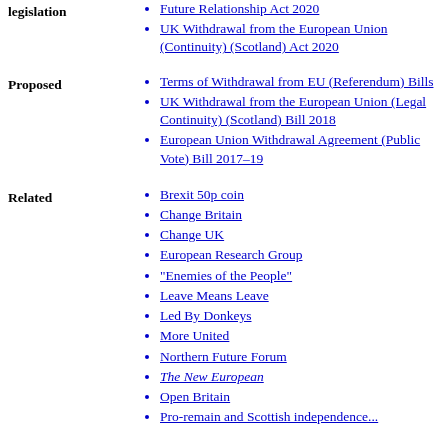Future Relationship Act 2020
UK Withdrawal from the European Union (Continuity) (Scotland) Act 2020
Proposed
Terms of Withdrawal from EU (Referendum) Bills
UK Withdrawal from the European Union (Legal Continuity) (Scotland) Bill 2018
European Union Withdrawal Agreement (Public Vote) Bill 2017–19
Related
Brexit 50p coin
Change Britain
Change UK
European Research Group
"Enemies of the People"
Leave Means Leave
Led By Donkeys
More United
Northern Future Forum
The New European
Open Britain
Pro-remain and Scottish independence...